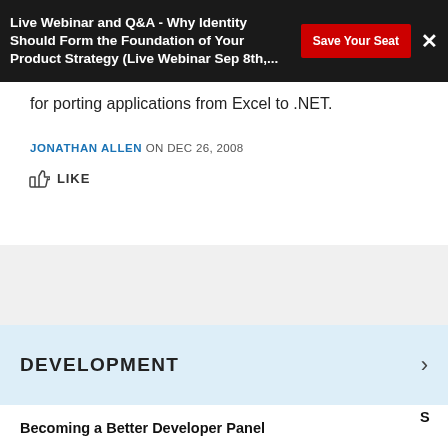Live Webinar and Q&A - Why Identity Should Form the Foundation of Your Product Strategy (Live Webinar Sep 8th,...
for porting applications from Excel to .NET.
JONATHAN ALLEN ON DEC 26, 2008
LIKE
DEVELOPMENT
Becoming a Better Developer Panel
Go 1.19 Improves Generics Performance and Refines its Memory Model
The Tao of Node: an Attempt to Formalise JS Development Patterns